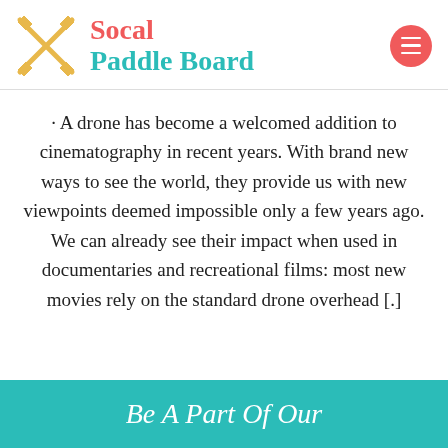[Figure (logo): Socal Paddle Board logo with crossed paddles icon in gold/yellow, 'Socal' in red-pink serif font, 'Paddle Board' in teal serif font, and a red circular hamburger menu button]
· A drone has become a welcomed addition to cinematography in recent years. With brand new ways to see the world, they provide us with new viewpoints deemed impossible only a few years ago. We can already see their impact when used in documentaries and recreational films: most new movies rely on the standard drone overhead [.]
Be A Part Of Our